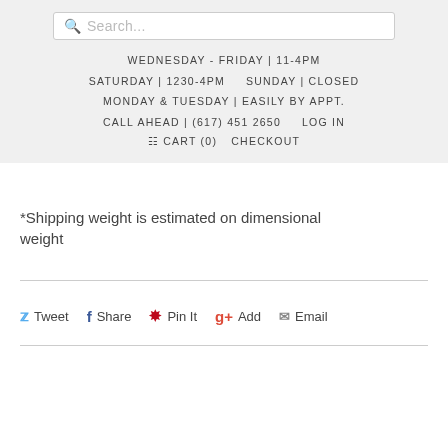Search...
WEDNESDAY - FRIDAY | 11-4PM
SATURDAY | 1230-4PM    SUNDAY | CLOSED
MONDAY & TUESDAY | EASILY BY APPT.
CALL AHEAD | (617) 451 2650    LOG IN
CART (0)    CHECKOUT
*Shipping weight is estimated on dimensional weight
Tweet  Share  Pin It  Add  Email